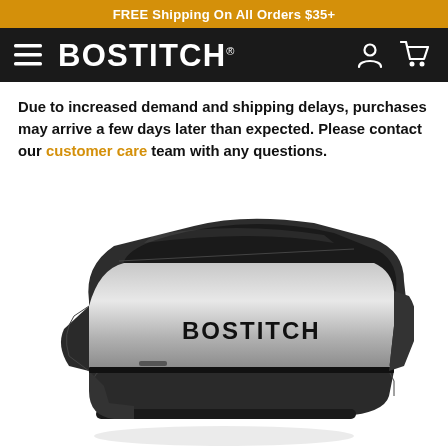FREE Shipping On All Orders $35+
[Figure (logo): Bostitch brand logo in white on dark background, with hamburger menu icon on left and user/cart icons on right]
Due to increased demand and shipping delays, purchases may arrive a few days later than expected. Please contact our customer care team with any questions.
[Figure (photo): Bostitch InPower spring-powered desktop stapler in black and silver, shown at an angle against white background]